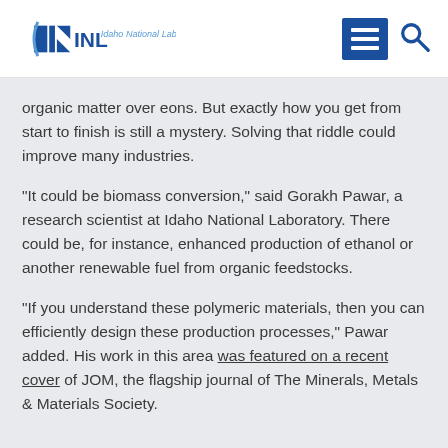INL Idaho National Laboratory
organic matter over eons. But exactly how you get from start to finish is still a mystery. Solving that riddle could improve many industries.
“It could be biomass conversion,” said Gorakh Pawar, a research scientist at Idaho National Laboratory. There could be, for instance, enhanced production of ethanol or another renewable fuel from organic feedstocks.
“If you understand these polymeric materials, then you can efficiently design these production processes,” Pawar added. His work in this area was featured on a recent cover of JOM, the flagship journal of The Minerals, Metals & Materials Society.